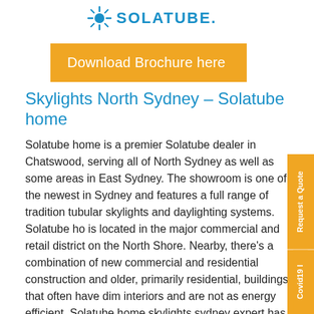SOLATUBE
Download Brochure here
Skylights North Sydney – Solatube home
Solatube home is a premier Solatube dealer in Chatswood, serving all of North Sydney as well as some areas in East Sydney. The showroom is one of the newest in Sydney and features a full range of traditional tubular skylights and daylighting systems. Solatube home is located in the major commercial and retail district on the North Shore. Nearby, there's a combination of new commercial and residential construction and older, primarily residential, buildings that often have dim interiors and are not as energy efficient. Solatube home skylights sydney expert has several case studies that illustrate how Solatubes can bring energy efficient natu